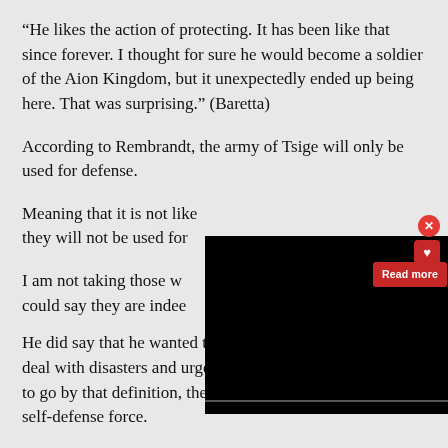“He likes the action of protecting. It has been like that since forever. I thought for sure he would become a soldier of the Aion Kingdom, but it unexpectedly ended up being here. That was surprising.” (Baretta)
According to Rembrandt, the army of Tsige will only be used for defense.
Meaning that it is not li[...] they will not be used fo[...]
I am not taking those w[...] could say they are indee[...]
[Figure (screenshot): Black video/media overlay with a red close button (X), a red heart icon, and a red Read more button in the upper right corner of the overlay.]
He did say that he wanted to make it possible for them to deal with disasters and urgent public works, so…if I were to go by that definition, then they would be more like the self-defense force.